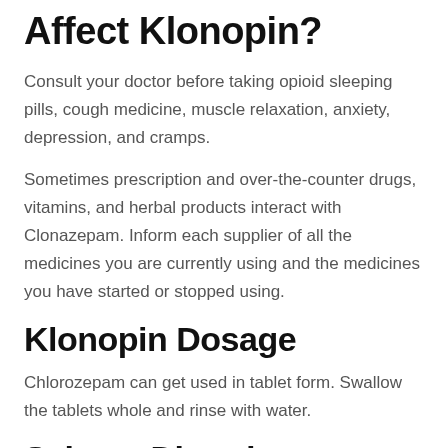Affect Klonopin?
Consult your doctor before taking opioid sleeping pills, cough medicine, muscle relaxation, anxiety, depression, and cramps.
Sometimes prescription and over-the-counter drugs, vitamins, and herbal products interact with Clonazepam. Inform each supplier of all the medicines you are currently using and the medicines you have started or stopped using.
Klonopin Dosage
Chlorozepam can get used in tablet form. Swallow the tablets whole and rinse with water.
Seizure Disorders
The use of several anticonvulsant drugs may